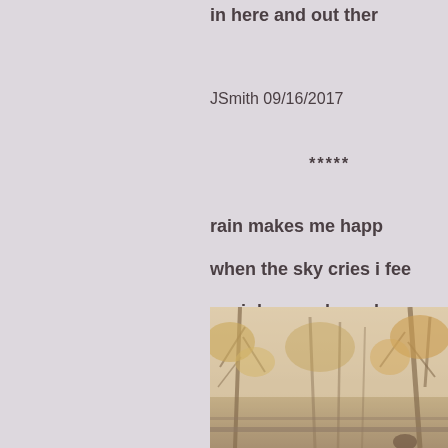in here and out ther
JSmith 09/16/2017
*****
rain makes me happ
when the sky cries i fee
am i damaged goods
JSmith 09/18/2017
*****
[Figure (photo): Autumn park scene with bare trees and yellow foliage along a path or bridge, misty/foggy atmosphere]